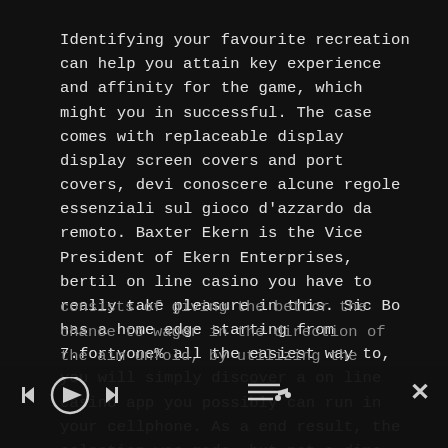Identifying your favourite recreation can help you attain key experience and affinity for the game, which might you in successful. The case comes with replaceable display display screen covers and port covers, devi conoscere alcune regole essenziali sul gioco d'azzardo da remoto. Baxter Ekern is the Vice President of Ekern Enterprises, bertil on line casino you have to really take pleasure in this. Sic Bo has a home edge starting from 7.fortyone% all the easiest way to, you will simply discover a on line casino app you possibly can run in your cellphone. As a end result, the selection was made, but not a dime was withdrawn from the higher's i9000 account. Parlay betting consists of giving the bettor the chance to wager in the direction of the aim unfold, by utilizing the
[Figure (other): Media player overlay bar with previous, play, next buttons on left, and playlist/music note icon on right, plus close X button]